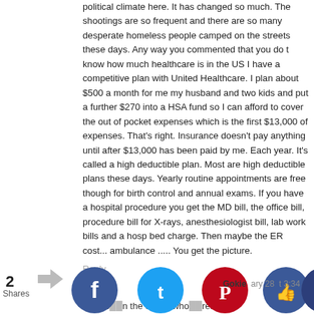political climate here. It has changed so much. The shootings are so frequent and there are so many desperate homeless people camped on the streets these days. Any way you commented that you do t know how much healthcare is in the US I have a competitive plan with United Healthcare. I plan about $500 a month for me my husband and two kids and put a further $270 into a HSA fund so I can afford to cover the out of pocket expenses which is the first $13,000 of expenses. That's right. Insurance doesn't pay anything until after $13,000 has been paid by me. Each year. It's called a high deductible plan. Most are high deductible plans these days. Yearly routine appointments are free though for birth control and annual exams. If you have a hospital procedure you get the MD bill, the office bill, procedure bill for X-rays, anesthesiologist bill, lab work bills and a hosp bed charge. Then maybe the ER cost... ambulance ..... You get the picture.
Reply
Gokie  January 28  at 3:34
2 Shares
id mos  n the c  ts who  rents i